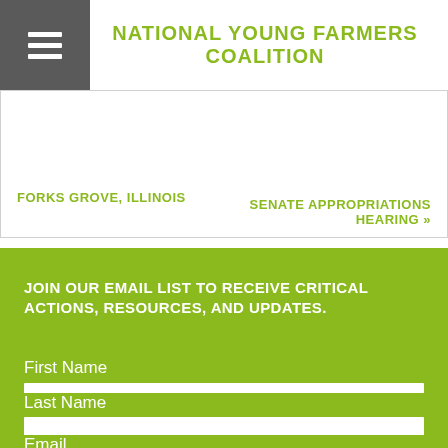NATIONAL YOUNG FARMERS COALITION
FORKS GROVE, ILLINOIS
SENATE APPROPRIATIONS HEARING »
JOIN OUR EMAIL LIST TO RECEIVE CRITICAL ACTIONS, RESOURCES, AND UPDATES.
First Name
Last Name
Email